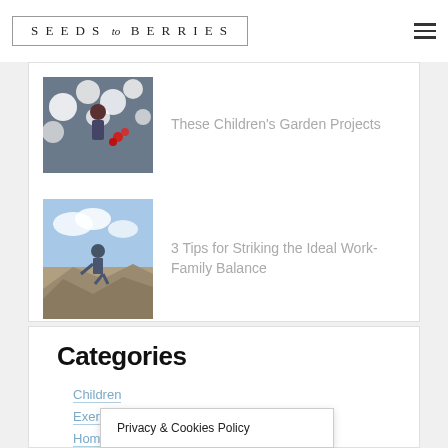SEEDS to BERRIES
[Figure (photo): Thumbnail of child among flowers]
These Children's Garden Projects
[Figure (photo): Thumbnail of person on rocky landscape]
3 Tips for Striking the Ideal Work-Family Balance
Categories
Children
Exercise and Diet
Home
Mental
Privacy & Cookies Policy